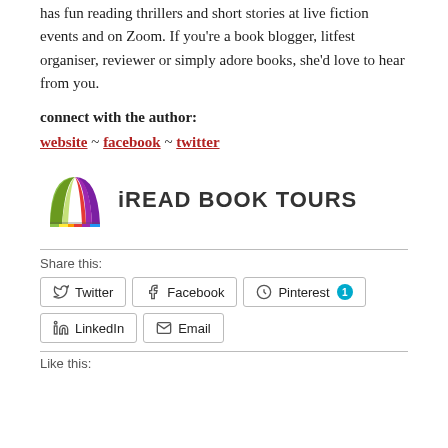has fun reading thrillers and short stories at live fiction events and on Zoom. If you're a book blogger, litfest organiser, reviewer or simply adore books, she'd love to hear from you.
connect with the author:
website ~ facebook ~ twitter
[Figure (logo): iREAD BOOK TOURS logo with colorful open book icon]
Share this:
Twitter  Facebook  Pinterest 1  LinkedIn  Email
Like this: